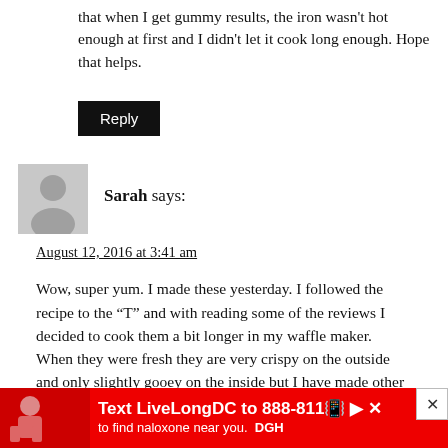that when I get gummy results, the iron wasn't hot enough at first and I didn't let it cook long enough. Hope that helps.
Reply
Sarah says:
August 12, 2016 at 3:41 am
Wow, super yum. I made these yesterday. I followed the recipe to the “T” and with reading some of the reviews I decided to cook them a bit longer in my waffle maker. When they were fresh they are very crispy on the outside and only slightly gooey on the inside but I have made other AIP recipes and that's how they seem to turn out, however that being said they next don't seem to turn out like a normal glu... ...day f...
[Figure (infographic): Red advertisement banner at the bottom: 'Text LiveLongDC to 888-811 to find naloxone near you.' with a photo of a person and DGH logo. A close button (x) is visible.]